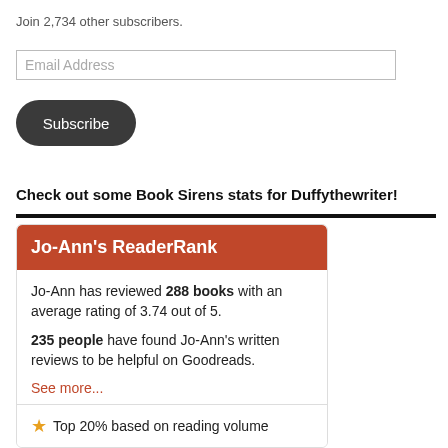Join 2,734 other subscribers.
Email Address
Subscribe
Check out some Book Sirens stats for Duffythewriter!
Jo-Ann's ReaderRank
Jo-Ann has reviewed 288 books with an average rating of 3.74 out of 5.
235 people have found Jo-Ann's written reviews to be helpful on Goodreads.
See more...
Top 20% based on reading volume